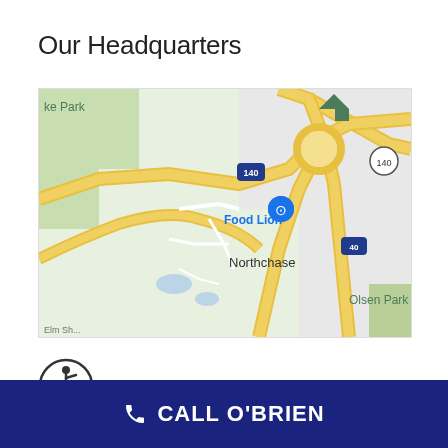Our Headquarters
[Figure (map): Google Maps screenshot showing road map of Northchase area near Wilmington, NC. Shows intersection of highway 140 and I-40, Food Lion store marker with shopping cart icon, Northchase neighborhood label, Olsen Park label, and partial lake park label in upper left corner.]
[Figure (illustration): Wheelchair accessibility icon — circular symbol with person in wheelchair]
CALL O'BRIEN